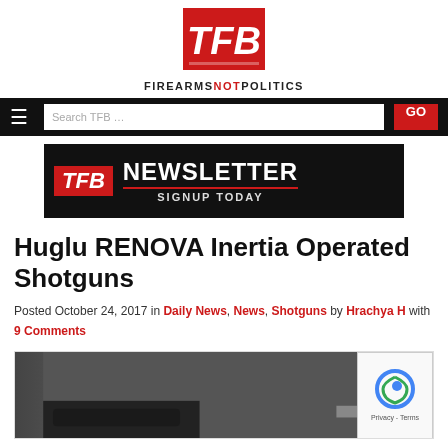[Figure (logo): TFB (The Firearm Blog) logo — red square with white TFB letters, tagline FIREARMS NOT POLITICS below]
Navigation bar with hamburger menu icon and Search TFB … input with GO button
[Figure (infographic): TFB Newsletter Signup Today banner — black background with red TFB box and white NEWSLETTER text]
Huglu RENOVA Inertia Operated Shotguns
Posted October 24, 2017 in Daily News, News, Shotguns by Hrachya H with 9 Comments
[Figure (photo): Partial photo of shotgun, dark colored firearm on dark background, partially visible at bottom]